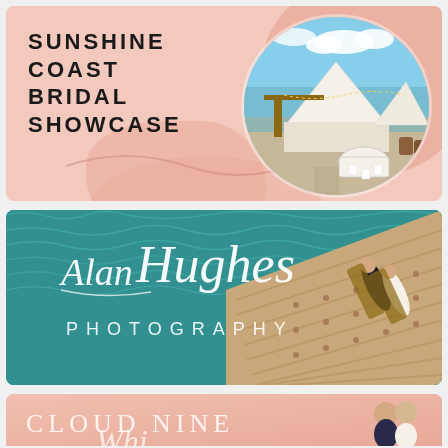[Figure (illustration): Sunshine Coast Bridal Showcase promotional banner with pink blush background, bold uppercase text on left and an oval-framed photo of a beach wedding venue with sail tents and decorated tables on right]
[Figure (logo): Alan Hughes Photography logo overlaid on a teal/turquoise pool water background with aerial view of a couple on a wooden deck]
[Figure (illustration): Cloud Nine banner - partial view showing 'CLOUD NINE' text in light serif font on a peachy-pink background with couple kissing on right side]